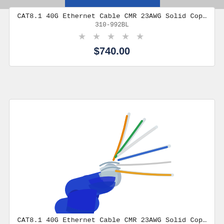[Figure (photo): Partial view of a blue ethernet cable from above, top portion visible]
CAT8.1 40G Ethernet Cable CMR 23AWG Solid Cop…
310-992BL
★★★★★ (empty stars rating)
$740.00
[Figure (photo): CAT8.1 ethernet cable with blue jacket, foil-shielded twisted pairs fanned out showing orange, green, white, blue, and yellow wire pairs with metallic shielding]
CAT8.1 40G Ethernet Cable CMR 23AWG Solid Cop…